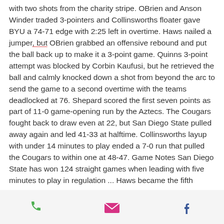with two shots from the charity stripe. OBrien and Anson Winder traded 3-pointers and Collinsworths floater gave BYU a 74-71 edge with 2:25 left in overtime. Haws nailed a jumper, but OBrien grabbed an offensive rebound and put the ball back up to make it a 3-point game. Quinns 3-point attempt was blocked by Corbin Kaufusi, but he retrieved the ball and calmly knocked down a shot from beyond the arc to send the game to a second overtime with the teams deadlocked at 76. Shepard scored the first seven points as part of 11-0 game-opening run by the Aztecs. The Cougars fought back to draw even at 22, but San Diego State pulled away again and led 41-33 at halftime. Collinsworths layup with under 14 minutes to play ended a 7-0 run that pulled the Cougars to within one at 48-47. Game Notes San Diego State has won 124 straight games when leading with five minutes to play in regulation ... Haws became the fifth
phone | email | facebook